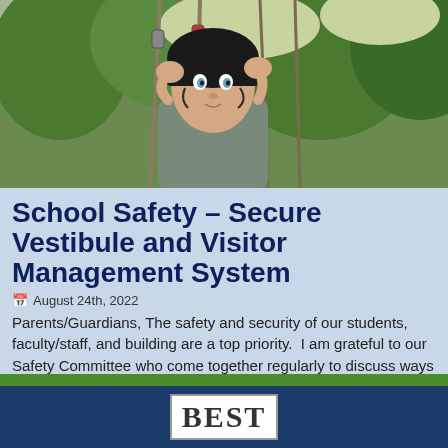[Figure (photo): A child wearing a helmet holding onto climbing ropes outdoors, looking upward with trees in the background.]
School Safety – Secure Vestibule and Visitor Management System
August 24th, 2022
Parents/Guardians, The safety and security of our students, faculty/staff, and building are a top priority.  I am grateful to our Safety Committee who come together regularly to discuss ways we can...
[Figure (logo): BEST logo in white box with dark border on dark navy blue footer background.]